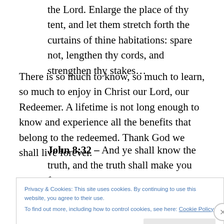the Lord. Enlarge the place of thy tent, and let them stretch forth the curtains of thine habitations: spare not, lengthen thy cords, and strengthen thy stakes…
There is so much to know, so much to learn, so much to enjoy in Christ our Lord, our Redeemer. A lifetime is not long enough to know and experience all the benefits that belong to the redeemed. Thank God we shall live forever.
John 8:32 – And ye shall know the truth, and the truth shall make you free.
Privacy & Cookies: This site uses cookies. By continuing to use this website, you agree to their use.
To find out more, including how to control cookies, see here: Cookie Policy